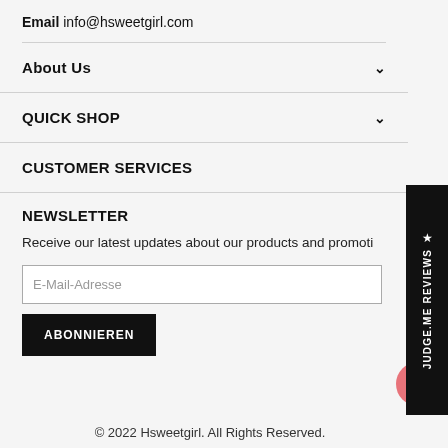Email info@hsweetgirl.com
About Us
QUICK SHOP
CUSTOMER SERVICES
NEWSLETTER
Receive our latest updates about our products and promotions.
E-Mail-Adresse
ABONNIEREN
© 2022 Hsweetgirl. All Rights Reserved.